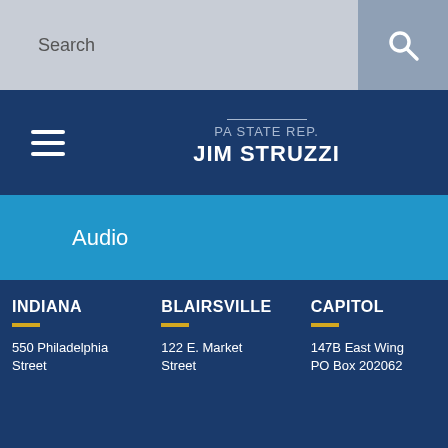Search
PA STATE REP. JIM STRUZZI
Audio
Photos
INDIANA
550 Philadelphia Street
BLAIRSVILLE
122 E. Market Street
CAPITOL
147B East Wing PO Box 202062